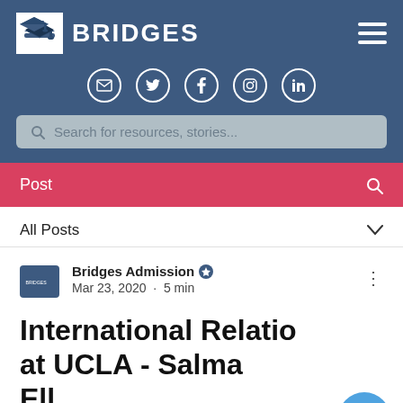BRIDGES
[Figure (screenshot): Social media icons: email, Twitter, Facebook, Instagram, LinkedIn]
Search for resources, stories...
Post
All Posts
Bridges Admission · Mar 23, 2020 · 5 min
International Relations at UCLA - Salma Ell...